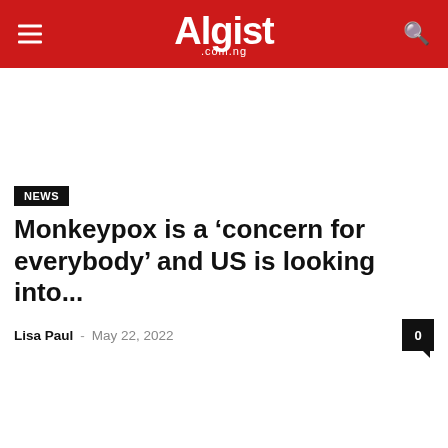Algist .com.ng
NEWS
Monkeypox is a ‘concern for everybody’ and US is looking into...
Lisa Paul – May 22, 2022  0
RECENT NEWS